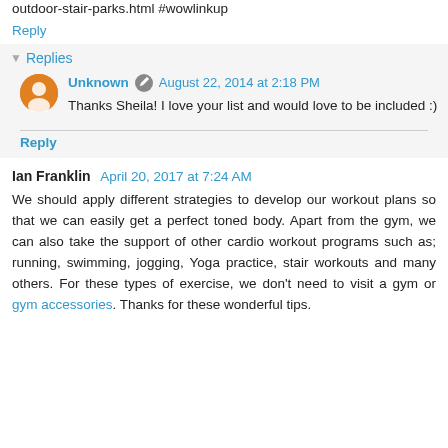outdoor-stair-parks.html #wowlinkup
Reply
Replies
Unknown · August 22, 2014 at 2:18 PM
Thanks Sheila! I love your list and would love to be included :)
Reply
Ian Franklin · April 20, 2017 at 7:24 AM
We should apply different strategies to develop our workout plans so that we can easily get a perfect toned body. Apart from the gym, we can also take the support of other cardio workout programs such as; running, swimming, jogging, Yoga practice, stair workouts and many others. For these types of exercise, we don't need to visit a gym or gym accessories. Thanks for these wonderful tips.